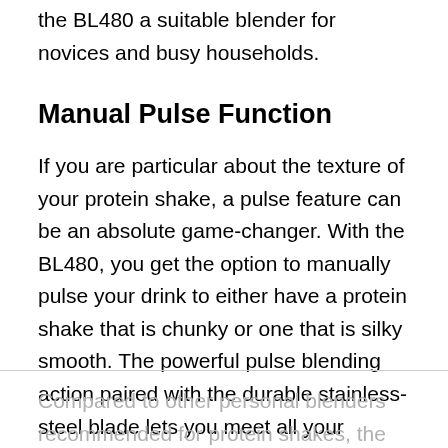the BL480 a suitable blender for novices and busy households.
Manual Pulse Function
If you are particular about the texture of your protein shake, a pulse feature can be an absolute game-changer. With the BL480, you get the option to manually pulse your drink to either have a protein shake that is chunky or one that is silky smooth. The powerful pulse blending action paired with the durable stainless-steel blade lets you meet all your blending needs head-on, and the results are nothing short of impressive.
Compared to other personal blenders recommended for protein shakes, the BL480 is